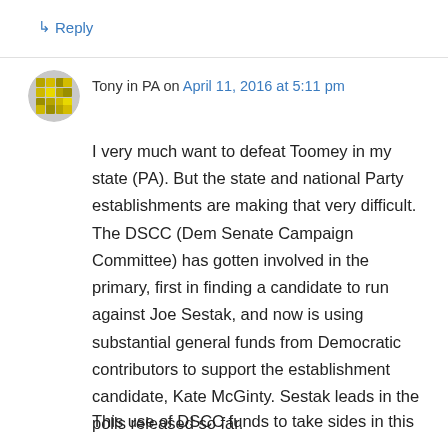↳ Reply
Tony in PA on April 11, 2016 at 5:11 pm
I very much want to defeat Toomey in my state (PA). But the state and national Party establishments are making that very difficult. The DSCC (Dem Senate Campaign Committee) has gotten involved in the primary, first in finding a candidate to run against Joe Sestak, and now is using substantial general funds from Democratic contributors to support the establishment candidate, Kate McGinty. Sestak leads in the polls released so far.
This use of DSCC funds to take sides in this